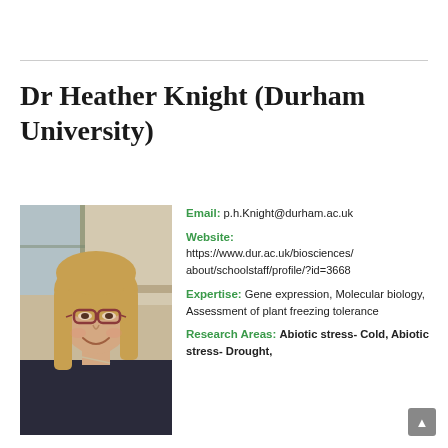Dr Heather Knight (Durham University)
[Figure (photo): Headshot photo of Dr Heather Knight, a woman with glasses and shoulder-length blonde hair, smiling, wearing a dark top, in an office/lab setting.]
Email: p.h.Knight@durham.ac.uk
Website: https://www.dur.ac.uk/biosciences/about/schoolstaff/profile/?id=3668
Expertise: Gene expression, Molecular biology, Assessment of plant freezing tolerance
Research Areas: Abiotic stress- Cold, Abiotic stress- Drought,